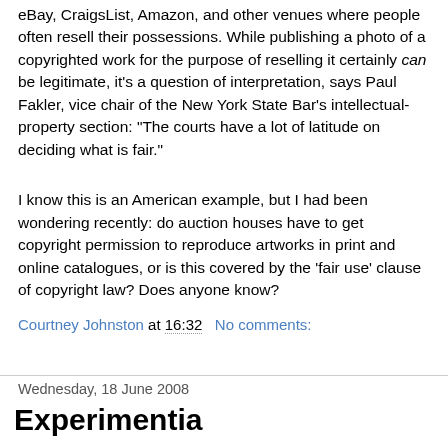eBay, CraigsList, Amazon, and other venues where people often resell their possessions. While publishing a photo of a copyrighted work for the purpose of reselling it certainly can be legitimate, it's a question of interpretation, says Paul Fakler, vice chair of the New York State Bar's intellectual-property section: "The courts have a lot of latitude on deciding what is fair."
I know this is an American example, but I had been wondering recently: do auction houses have to get copyright permission to reproduce artworks in print and online catalogues, or is this covered by the 'fair use' clause of copyright law? Does anyone know?
Courtney Johnston at 16:32   No comments:
Wednesday, 18 June 2008
Experimentia